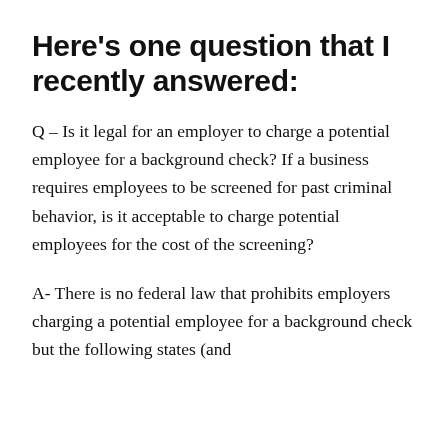Here's one question that I recently answered:
Q – Is it legal for an employer to charge a potential employee for a background check? If a business requires employees to be screened for past criminal behavior, is it acceptable to charge potential employees for the cost of the screening?
A- There is no federal law that prohibits employers charging a potential employee for a background check but the following states (and